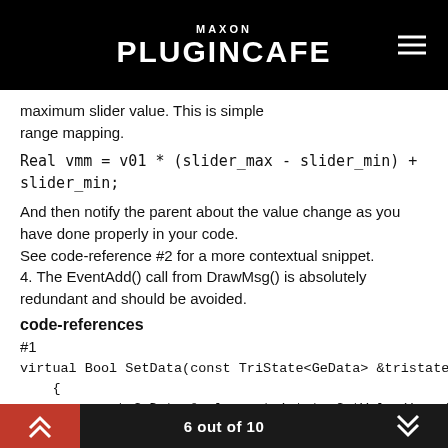MAXON PLUGINCAFE
maximum slider value. This is simple range mapping.
Real vmm = v01 * (slider_max - slider_min) + slider_min;
And then notify the parent about the value change as you have done properly in your code.
See code-reference #2 for a more contextual snippet.
4. The EventAdd() call from DrawMsg() is absolutely redundant and should be avoided.
code-references
#1
virtual Bool SetData(const TriState<GeData> &tristate)
    {
        const GeData &value = tristate.GetValue();  //The value of the gui(the data port in xpresso & the data
6 out of 10